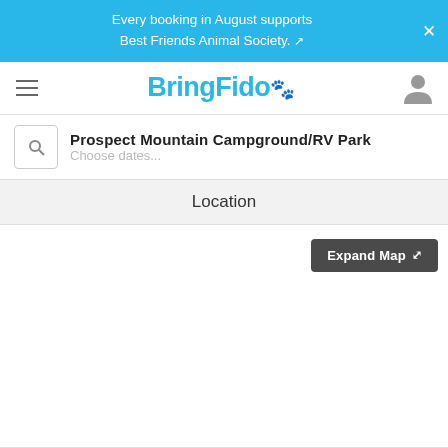Every booking in August supports Best Friends Animal Society.
[Figure (logo): BringFido logo with paw print icon]
Prospect Mountain Campground/RV Park
Choose dates...
Location
[Figure (screenshot): Map area with Expand Map button]